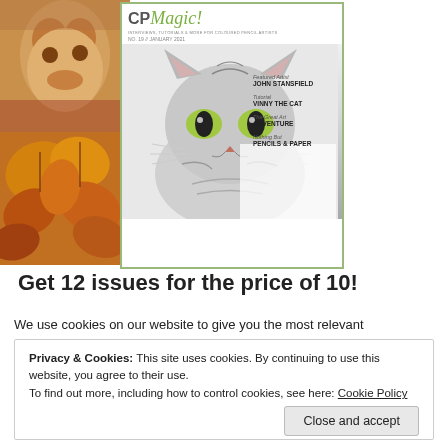[Figure (photo): Two stacked photos on the left: top shows a dog/puppy with warm brown tones, bottom shows colorful autumn leaves in orange and red tones]
[Figure (photo): CP Magic! magazine cover featuring a pencil drawing of a tabby cat with green eyes. Header shows 'CP Magic!' logo in green italic script. Sidebar text: Featured Artist JOHN STANSFIELD, Tutorial VINNY THE CAT, The Great Art ADVENTURE, Nothing But PENCILS & PAPER]
Get 12 issues for the price of 10!
We use cookies on our website to give you the most relevant
Privacy & Cookies: This site uses cookies. By continuing to use this website, you agree to their use. To find out more, including how to control cookies, see here: Cookie Policy
Close and accept